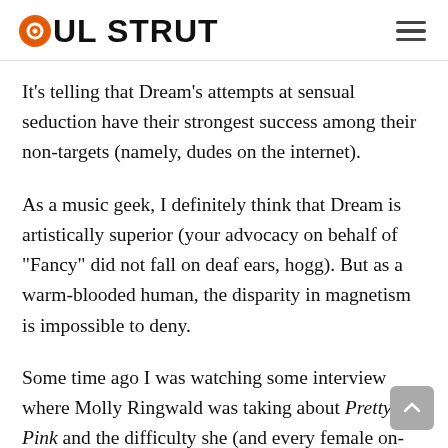SOUL STRUT
It's telling that Dream's attempts at sensual seduction have their strongest success among their non-targets (namely, dudes on the internet).
As a music geek, I definitely think that Dream is artistically superior (your advocacy on behalf of "Fancy" did not fall on deaf ears, hogg). But as a warm-blooded human, the disparity in magnetism is impossible to deny.
Some time ago I was watching some interview where Molly Ringwald was taking about Pretty In Pink and the difficulty she (and every female on-set) had in selling the male casting directors on Andrew McCarthy. The directors all wanted some